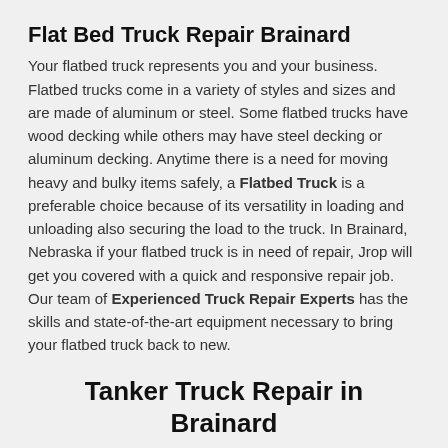Flat Bed Truck Repair Brainard
Your flatbed truck represents you and your business. Flatbed trucks come in a variety of styles and sizes and are made of aluminum or steel. Some flatbed trucks have wood decking while others may have steel decking or aluminum decking. Anytime there is a need for moving heavy and bulky items safely, a Flatbed Truck is a preferable choice because of its versatility in loading and unloading also securing the load to the truck. In Brainard, Nebraska if your flatbed truck is in need of repair, Jrop will get you covered with a quick and responsive repair job. Our team of Experienced Truck Repair Experts has the skills and state-of-the-art equipment necessary to bring your flatbed truck back to new.
Tanker Truck Repair in Brainard